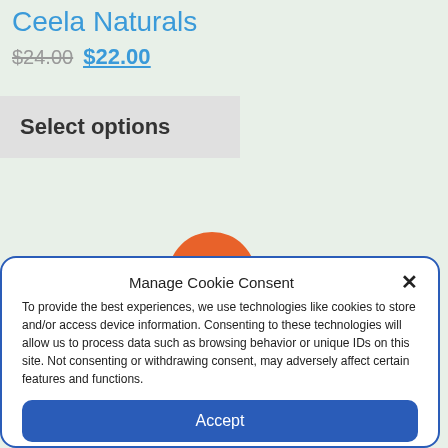Ceela Naturals
$24.00 $22.00
Select options
[Figure (illustration): Orange semicircle arc used as decorative element above the cookie consent modal]
Manage Cookie Consent
To provide the best experiences, we use technologies like cookies to store and/or access device information. Consenting to these technologies will allow us to process data such as browsing behavior or unique IDs on this site. Not consenting or withdrawing consent, may adversely affect certain features and functions.
Accept
Cookie Policy  Privacy and Cookie Policy